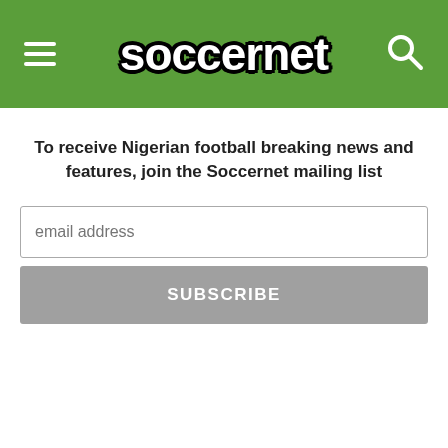[Figure (logo): Soccernet logo with white bold text and black outline on green background, with hamburger menu icon on left and search icon on right]
To receive Nigerian football breaking news and features, join the Soccernet mailing list
email address
SUBSCRIBE